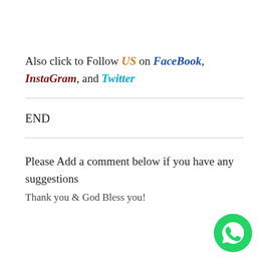Also click to Follow US on FaceBook, InstaGram, and Twitter
END
Please Add a comment below if you have any suggestions
Thank you & God Bless you!
[Figure (logo): WhatsApp green circular button icon in bottom-right corner]